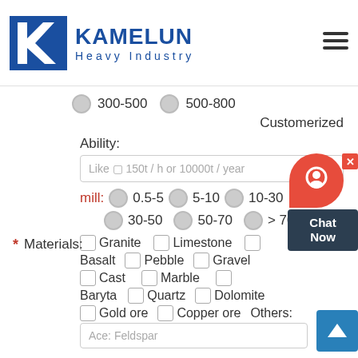[Figure (logo): Kamelun Heavy Industry logo with blue K icon and company name]
300-500   500-800
Customerized
Ability:
Like ⬛ 150t / h or 10000t / year
mill:  0.5-5  5-10  10-30  30-50  50-70  > 70
* Materials:
Granite  Limestone  Basalt  Pebble  Gravel  Cast  Marble  Baryta  Quartz  Dolomite  Gold ore  Copper ore  Others:
Ace: Feldspar
Message:
(Such as outlet size 0-10, 10-15, 15-20mm for crusher or 75 micron (200 mesh) for mill